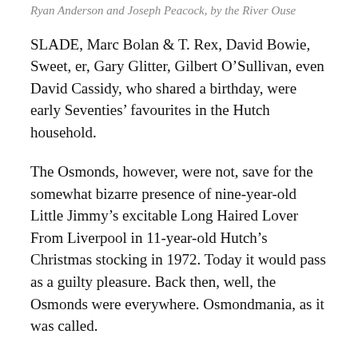Ryan Anderson and Joseph Peacock, by the River Ouse
SLADE, Marc Bolan & T. Rex, David Bowie, Sweet, er, Gary Glitter, Gilbert O'Sullivan, even David Cassidy, who shared a birthday, were early Seventies' favourites in the Hutch household.
The Osmonds, however, were not, save for the somewhat bizarre presence of nine-year-old Little Jimmy's excitable Long Haired Lover From Liverpool in 11-year-old Hutch's Christmas stocking in 1972. Today it would pass as a guilty pleasure. Back then, well, the Osmonds were everywhere. Osmondmania, as it was called.
“We want The Osmonds,” went the chant. “We want The Osmonds”. Ah, but do we still want The Osmonds? On the evidence of Tuesday night's audience, there are plenty who still do: mainly women of a certain age who were